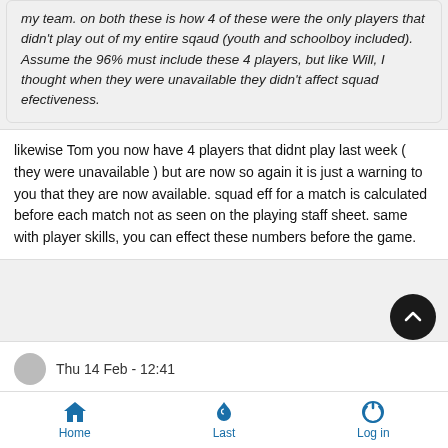my team. on both these is how 4 of these were the only players that didn't play out of my entire sqaud (youth and schoolboy included). Assume the 96% must include these 4 players, but like Will, I thought when they were unavailable they didn't affect squad efectiveness.
likewise Tom you now have 4 players that didnt play last week ( they were unavailable ) but are now so again it is just a warning to you that they are now available. squad eff for a match is calculated before each match not as seen on the playing staff sheet. same with player skills, you can effect these numbers before the game.
Thu 14 Feb - 12:41